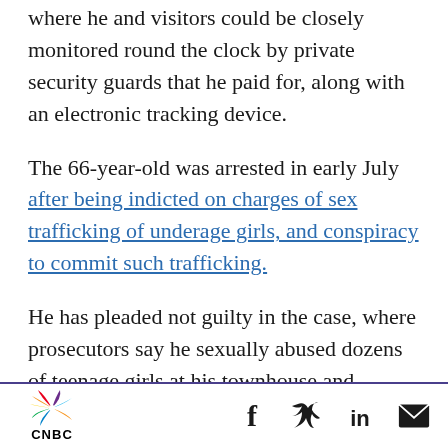where he and visitors could be closely monitored round the clock by private security guards that he paid for, along with an electronic tracking device.
The 66-year-old was arrested in early July after being indicted on charges of sex trafficking of underage girls, and conspiracy to commit such trafficking.
He has pleaded not guilty in the case, where prosecutors say he sexually abused dozens of teenage girls at his townhouse and mansion in Palm Beach, Florida, from 2002 through 2005.
In denying Epstein's bail request two weeks ago,
CNBC